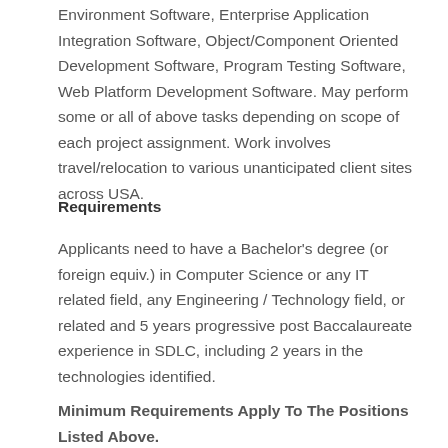Environment Software, Enterprise Application Integration Software, Object/Component Oriented Development Software, Program Testing Software, Web Platform Development Software. May perform some or all of above tasks depending on scope of each project assignment. Work involves travel/relocation to various unanticipated client sites across USA.
Requirements
Applicants need to have a Bachelor's degree (or foreign equiv.) in Computer Science or any IT related field, any Engineering / Technology field, or related and 5 years progressive post Baccalaureate experience in SDLC, including 2 years in the technologies identified.
Minimum Requirements Apply To The Positions Listed Above.